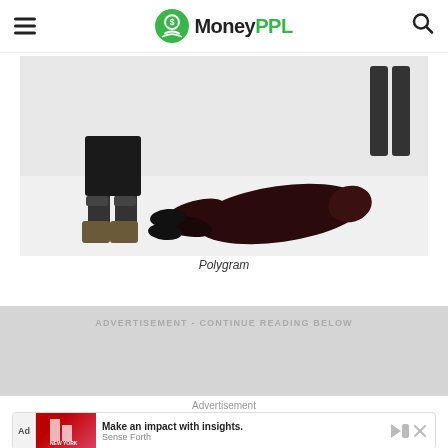MoneyPPL
[Figure (photo): A person in dark clothing lying face-down in snow, another person standing nearby, winter outdoor scene]
Polygram
ADVERTISEMENT - CONTINUE READING BELOW
[Figure (other): Advertisement placeholder area (gray background)]
Advertisement
[Figure (other): Bottom banner ad: Make an impact with insights. Sense Forth - Open]